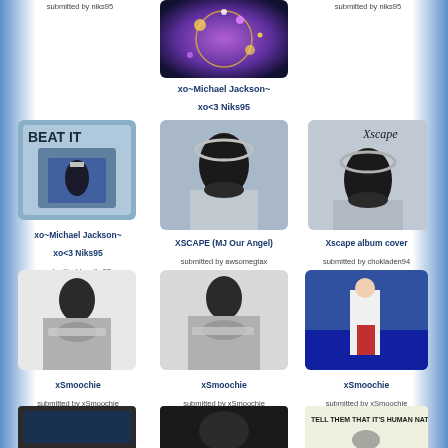submitted by niks95
[Figure (photo): Purple bokeh glitter background, top center]
submitted by niks95
xo~Michael Jackson~xo<3 Niks95
submitted by niks95
[Figure (photo): Beat It album cover art, blue tones with text BEAT IT]
[Figure (photo): XSCAPE MJ Our Angel - Michael Jackson with hat, face partially covered]
[Figure (photo): Xscape album cover - Michael Jackson with Xscape text in cursive]
xo~Michael Jackson~xo<3 Niks95
submitted by niks95
XSCAPE (MJ Our Angel)
submitted by awsomegtax
Xscape album cover
submitted by chokladen94
[Figure (photo): Black and white photo of Michael Jackson covering face with hands]
[Figure (photo): Black and white photo of Michael Jackson covering face with hands]
[Figure (photo): Color photo of Michael Jackson performing, wearing white shirt and red jacket]
xSmoochie
submitted by xSmoochie
xSmoochie
submitted by xSmoochie
xSmoochie
submitted by xSmoochie
[Figure (photo): Partially visible image at bottom left, cut off]
[Figure (photo): Partially visible dark photo at bottom center, cut off]
[Figure (photo): Tell Them That It's Human Nature text image at bottom right, partially cut off]